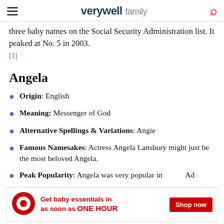verywell family
three baby names on the Social Security Administration list. It peaked at No. 5 in 2003. [1]
Angela
Origin: English
Meaning: Messenger of God
Alternative Spellings & Variations: Angie
Famous Namesakes: Actress Angela Lansbury might just be the most beloved Angela.
Peak Popularity: Angela was very popular in
[Figure (other): Target advertisement banner: 'Get baby essentials in as soon as ONE HOUR' with Shop now button]